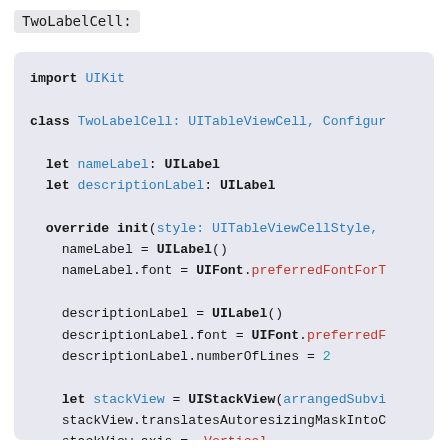TwoLabelCell:
import UIKit

class TwoLabelCell: UITableViewCell, Configur

  let nameLabel: UILabel
  let descriptionLabel: UILabel

  override init(style: UITableViewCellStyle,
    nameLabel = UILabel()
    nameLabel.font = UIFont.preferredFontForT

    descriptionLabel = UILabel()
    descriptionLabel.font = UIFont.preferredF
    descriptionLabel.numberOfLines = 2

    let stackView = UIStackView(arrangedSubvi
    stackView.translatesAutoresizingMaskIntoC
    stackView.axis = .Vertical